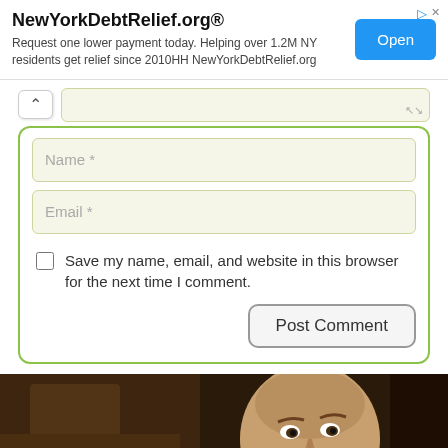[Figure (screenshot): Advertisement banner for NewYorkDebtRelief.org with title, subtitle text, and Open button]
[Figure (screenshot): Website comment form with textarea, Name field, Email field, save checkbox, and Post Comment button]
[Figure (photo): Photograph of a man's face looking up, dark background with warm tones]